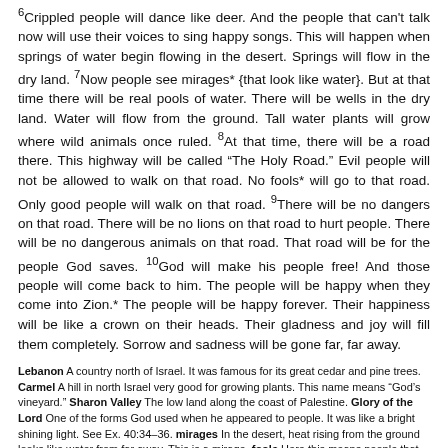6Crippled people will dance like deer. And the people that can't talk now will use their voices to sing happy songs. This will happen when springs of water begin flowing in the desert. Springs will flow in the dry land. 7Now people see mirages* {that look like water}. But at that time there will be real pools of water. There will be wells in the dry land. Water will flow from the ground. Tall water plants will grow where wild animals once ruled. 8At that time, there will be a road there. This highway will be called “The Holy Road.” Evil people will not be allowed to walk on that road. No fools* will go to that road. Only good people will walk on that road. 9There will be no dangers on that road. There will be no lions on that road to hurt people. There will be no dangerous animals on that road. That road will be for the people God saves. 10God will make his people free! And those people will come back to him. The people will be happy when they come into Zion.* The people will be happy forever. Their happiness will be like a crown on their heads. Their gladness and joy will fill them completely. Sorrow and sadness will be gone far, far away.
Lebanon A country north of Israel. It was famous for its great cedar and pine trees. Carmel A hill in north Israel very good for growing plants. This name means “God’s vineyard.” Sharon Valley The low land along the coast of Palestine. Glory of the Lord One of the forms God used when he appeared to people. It was like a bright shining light. See Ex. 40:34–36. mirages In the desert, heat rising from the ground looks like water from far away. This is a mirage. fools Here this means people that do not follow God and his wise teachings. Zion The southeast part of the mountain Jerusalem is built on. Sometimes it means the people of God living in Jerusalem.
The Assyrians Invade Judah